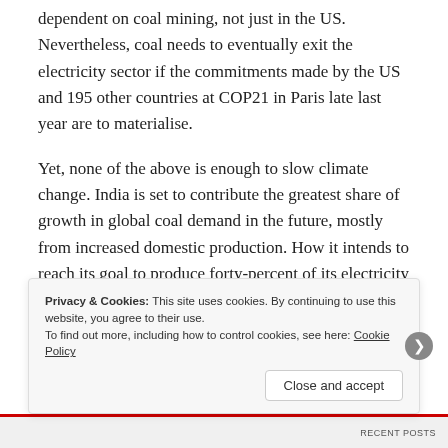dependent on coal mining, not just in the US. Nevertheless, coal needs to eventually exit the electricity sector if the commitments made by the US and 195 other countries at COP21 in Paris late last year are to materialise.
Yet, none of the above is enough to slow climate change. India is set to contribute the greatest share of growth in global coal demand in the future, mostly from increased domestic production. How it intends to reach its goal to produce forty-percent of its electricity from non-fossil fuel sources by 2020 is unclear. In
Privacy & Cookies: This site uses cookies. By continuing to use this website, you agree to their use.
To find out more, including how to control cookies, see here: Cookie Policy